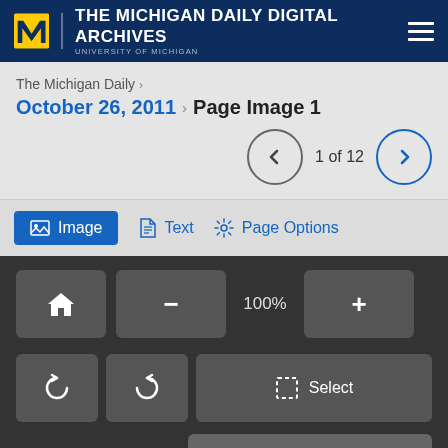THE MICHIGAN DAILY DIGITAL ARCHIVES — UNIVERSITY OF MICHIGAN
The Michigan Daily ›
October 26, 2011 › Page Image 1
1 of 12
Image  Text  Page Options
100%
Select
Report Problem